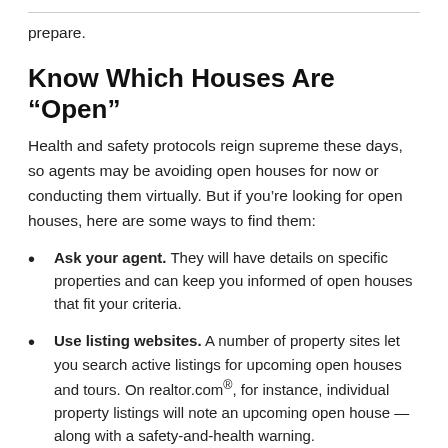prepare.
Know Which Houses Are “Open”
Health and safety protocols reign supreme these days, so agents may be avoiding open houses for now or conducting them virtually. But if you’re looking for open houses, here are some ways to find them:
Ask your agent. They will have details on specific properties and can keep you informed of open houses that fit your criteria.
Use listing websites. A number of property sites let you search active listings for upcoming open houses and tours. On realtor.com®, for instance, individual property listings will note an upcoming open house — along with a safety-and-health warning.